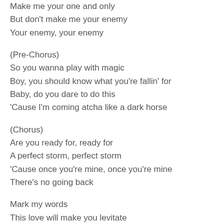Make me your one and only
But don't make me your enemy
Your enemy, your enemy
(Pre-Chorus)
So you wanna play with magic
Boy, you should know what you're fallin' for
Baby, do you dare to do this
'Cause I'm coming atcha like a dark horse
(Chorus)
Are you ready for, ready for
A perfect storm, perfect storm
'Cause once you're mine, once you're mine
There's no going back
Mark my words
This love will make you levitate